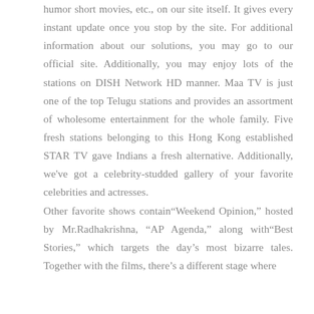humor short movies, etc., on our site itself. It gives every instant update once you stop by the site. For additional information about our solutions, you may go to our official site. Additionally, you may enjoy lots of the stations on DISH Network HD manner. Maa TV is just one of the top Telugu stations and provides an assortment of wholesome entertainment for the whole family. Five fresh stations belonging to this Hong Kong established STAR TV gave Indians a fresh alternative. Additionally, we've got a celebrity-studded gallery of your favorite celebrities and actresses.
Other favorite shows contain“Weekend Opinion,” hosted by Mr.Radhakrishna, “AP Agenda,” along with“Best Stories,” which targets the day’s most bizarre tales. Together with the films, there’s a different stage where